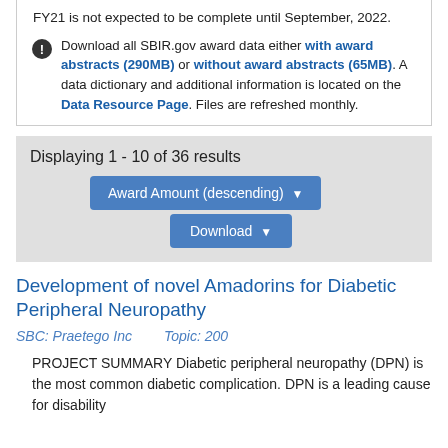FY21 is not expected to be complete until September, 2022.
Download all SBIR.gov award data either with award abstracts (290MB) or without award abstracts (65MB). A data dictionary and additional information is located on the Data Resource Page. Files are refreshed monthly.
Displaying 1 - 10 of 36 results
Award Amount (descending) ▾
Download ▾
Development of novel Amadorins for Diabetic Peripheral Neuropathy
SBC: Praetego Inc   Topic: 200
PROJECT SUMMARY Diabetic peripheral neuropathy (DPN) is the most common diabetic complication. DPN is a leading cause for disability